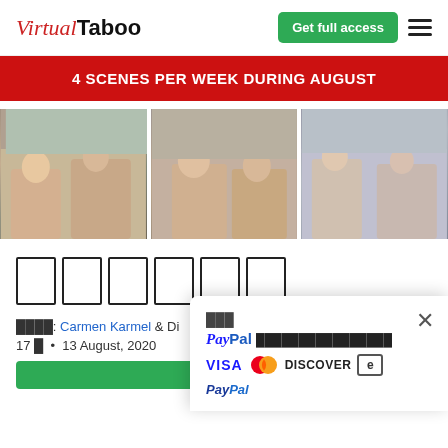Virtual Taboo | Get full access
4 SCENES PER WEEK DURING AUGUST
[Figure (photo): Three photos showing groups of young women in casual clothing indoors]
██████
████: Carmen Karmel & Di... • 13 August, 2020 • 17 █
Popup: PayPal ████████████████ — payment icons: VISA, Mastercard, DISCOVER, e, PayPal